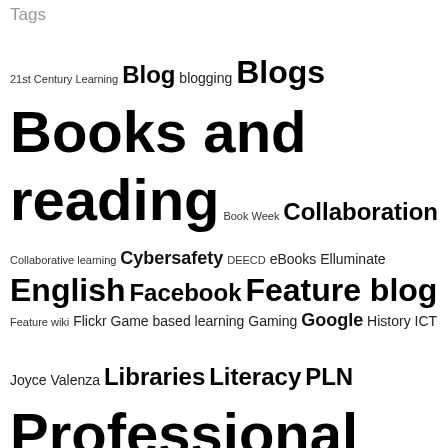Tags
21st Century Learning Blog blogging Blogs Books and reading Book Week Collaboration Collaborative learning Cybersafety DEECD eBooks Elluminate English Facebook Feature blog Feature wiki Flickr Game based learning Gaming Google History ICT Joyce Valenza Libraries Literacy PLN Professional learning Reading Research school libraries SLAV SLAV conference SLAV Web 2.0 Social media State Library of Victoria Teaching and learning Teaching